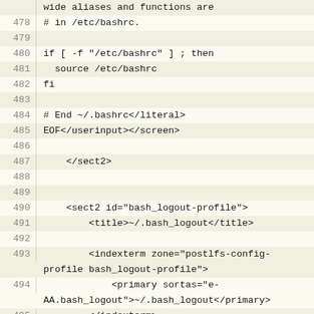Code listing lines 478-497 showing shell script and XML markup
| line | code |
| --- | --- |
|  | wide aliases and functions are |
| 478 | # in /etc/bashrc. |
| 479 |  |
| 480 | if [ -f "/etc/bashrc" ] ; then |
| 481 |   source /etc/bashrc |
| 482 | fi |
| 483 |  |
| 484 | # End ~/.bashrc</literal> |
| 485 | EOF</userinput></screen> |
| 486 |  |
| 487 |     </sect2> |
| 488 |  |
| 489 |  |
| 490 |     <sect2 id="bash_logout-profile"> |
| 491 |         <title>~/.bash_logout</title> |
| 492 |  |
| 493 |         <indexterm zone="postlfs-config-
profile bash_logout-profile"> |
| 494 |             <primary sortas="e-
AA.bash_logout">~/.bash_logout</primary> |
| 495 |         </indexterm> |
| 496 |  |
| 497 |         <para>This is an empty
<filename>~/.bash_logout</filename> that |